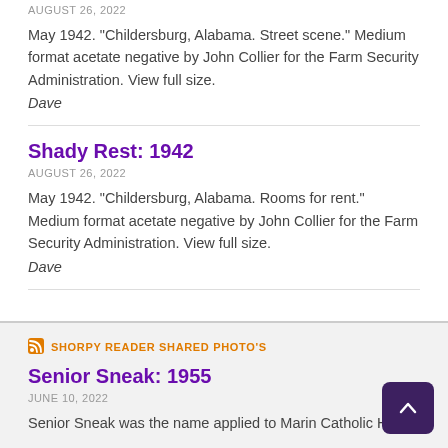AUGUST 26, 2022
May 1942. "Childersburg, Alabama. Street scene." Medium format acetate negative by John Collier for the Farm Security Administration. View full size.
Dave
Shady Rest: 1942
AUGUST 26, 2022
May 1942. "Childersburg, Alabama. Rooms for rent." Medium format acetate negative by John Collier for the Farm Security Administration. View full size.
Dave
SHORPY READER SHARED PHOTO'S
Senior Sneak: 1955
JUNE 10, 2022
Senior Sneak was the name applied to Marin Catholic High